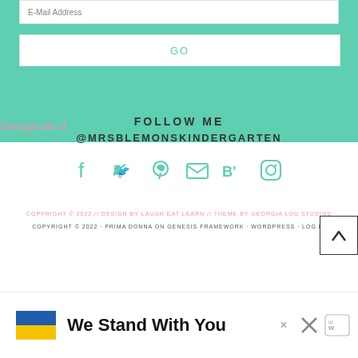E-Mail Address
GO
Instagram d
FOLLOW ME
@MRSBLEMONSKINDERGARTEN
[Figure (infographic): Row of 6 social media icons (Facebook, Twitter, Pinterest, Email, Bloglovin, Instagram) in teal color]
COPYRIGHT © 2022 // DESIGN BY LAUGH EAT LEARN // THEME BY GEORGIA LOU STUDIOS
COPYRIGHT © 2022 · PRIMA DONNA ON GENESIS FRAMEWORK · WORDPRESS · LOG IN
[Figure (infographic): Back to top arrow button (caret up) in a bordered box]
[Figure (infographic): Advertisement banner: Ukrainian flag, We Stand With You text, close buttons and WordPress logo]